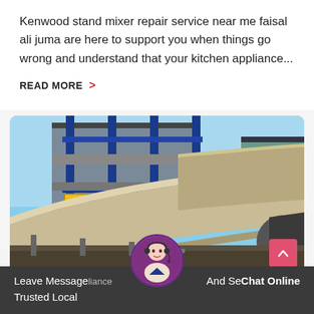Kenwood stand mixer repair service near me faisal ali juma are here to support you when things go wrong and understand that your kitchen appliance...
READ MORE >
[Figure (photo): Industrial facility with large cream-colored cylindrical pipes/rotary kilns in the foreground and blue steel structure with yellow square windows in the background against a blue sky.]
Leave Message
Trusted Local
And Se Chat Online